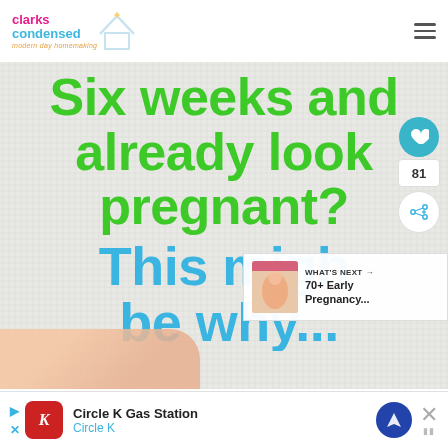[Figure (logo): Clarks Condensed logo with pink and blue text and house icon, tagline: modern day homemaking]
[Figure (illustration): Fabric textured background with large bold green text reading 'Six weeks and already look pregnant?' and partial blue text 'This migh...' and partial blue text below. A hand visible at bottom left. Heart/share social buttons on right side. 'WHAT'S NEXT' panel with '70+ Early Pregnancy...' article preview.]
[Figure (screenshot): Advertisement banner for Circle K Gas Station with Circle K logo, navigation icon, and close button]